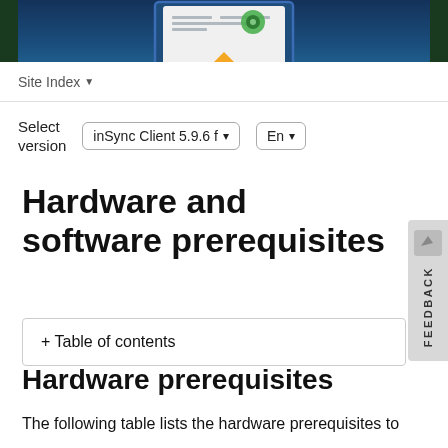[Figure (illustration): Website header with dark blue background showing an illustrated open book with settings icon and orange bookmark, partially visible at top]
Site Index ▼
Select version   inSync Client 5.9.6 f▾   En ▾
Hardware and software prerequisites
+ Table of contents
Hardware prerequisites
The following table lists the hardware prerequisites to